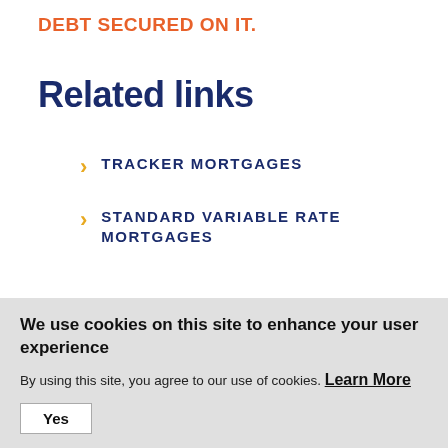DEBT SECURED ON IT.
Related links
TRACKER MORTGAGES
STANDARD VARIABLE RATE MORTGAGES
We use cookies on this site to enhance your user experience
By using this site, you agree to our use of cookies. Learn More
Yes